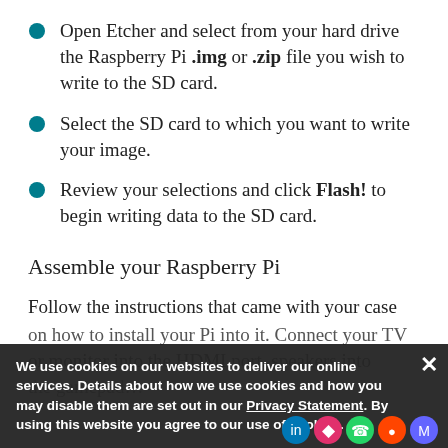Open Etcher and select from your hard drive the Raspberry Pi .img or .zip file you wish to write to the SD card.
Select the SD card to which you want to write your image.
Review your selections and click Flash! to begin writing data to the SD card.
Assemble your Raspberry Pi
Follow the instructions that came with your case on how to install your Pi into it. Connect your TV or monitor into the HDMI port, speakers into the gamepad...
We use cookies on our websites to deliver our online services. Details about how we use cookies and how you may disable them are set out in our Privacy Statement. By using this website you agree to our use of cookies.